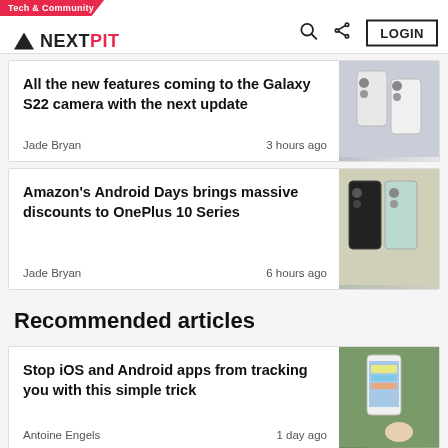Tech & Community — NEXTPIT
All the new features coming to the Galaxy S22 camera with the next update — Jade Bryan — 3 hours ago
Amazon's Android Days brings massive discounts to OnePlus 10 Series — Jade Bryan — 6 hours ago
Recommended articles
Stop iOS and Android apps from tracking you with this simple trick — Antoine Engels — 1 day ago